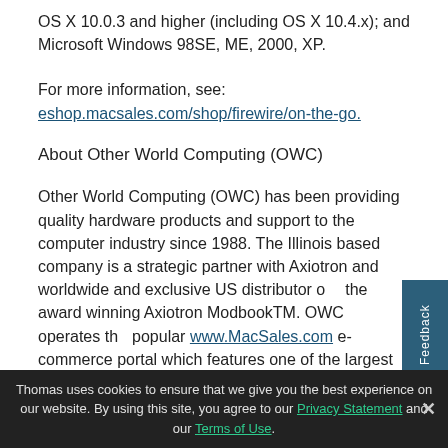OS X 10.0.3 and higher (including OS X 10.4.x); and Microsoft Windows 98SE, ME, 2000, XP.
For more information, see:
eshop.macsales.com/shop/firewire/on-the-go.
About Other World Computing (OWC)
Other World Computing (OWC) has been providing quality hardware products and support to the computer industry since 1988. The Illinois based company is a strategic partner with Axiotron and worldwide and exclusive US distributor of the award winning Axiotron ModbookTM. OWC operates the popular www.MacSales.com e-commerce portal which features one of the largest online catalogs of computer and iPod enhancement products, including Mercury, Neptune, and
Thomas uses cookies to ensure that we give you the best experience on our website. By using this site, you agree to our Privacy Statement and our Terms of Use.